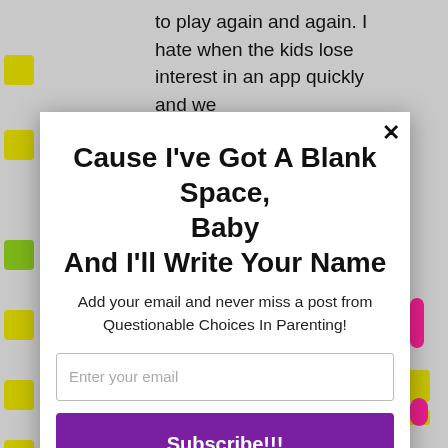to play again and again. I hate when the kids lose interest in an app quickly and we
[Figure (screenshot): Email subscription modal popup with title 'Cause I've Got A Blank Space, Baby And I'll Write Your Name', subtitle text, email input field, and purple Subscribe button. Powered by MailMunch.]
When we were setting up the app together, she really loved that we made the